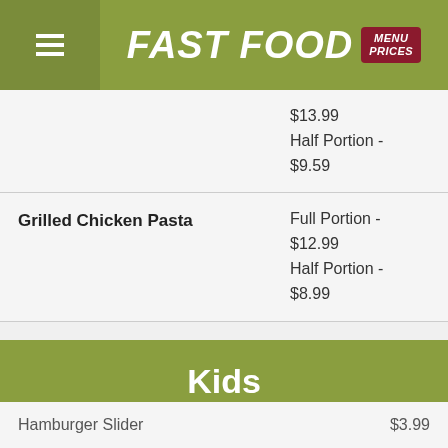FAST FOOD MENU PRICES
| Item | Price |
| --- | --- |
|  | $13.99
Half Portion - $9.59 |
| Grilled Chicken Pasta | Full Portion - $12.99
Half Portion - $8.99 |
| Classic Pasta Marinara | Full Portion - $11.99
Half Portion - $7.59 |
Kids
| Item | Price |
| --- | --- |
| Hamburger Slider | $3.99 |
| Cheeseburger Slider | $3.99 |